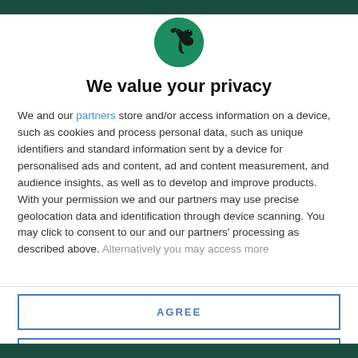[Figure (logo): Circular green logo with a black bird silhouette (raven/crow facing right)]
We value your privacy
We and our partners store and/or access information on a device, such as cookies and process personal data, such as unique identifiers and standard information sent by a device for personalised ads and content, ad and content measurement, and audience insights, as well as to develop and improve products. With your permission we and our partners may use precise geolocation data and identification through device scanning. You may click to consent to our and our partners' processing as described above. Alternatively you may access more
AGREE
MORE OPTIONS